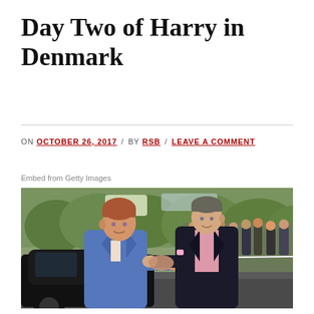Day Two of Harry in Denmark
ON OCTOBER 26, 2017 / BY RSB / LEAVE A COMMENT
Embed from Getty Images
[Figure (photo): Two men shaking hands outdoors near a car; one in a blue suit with red hair (Prince Harry), the other in a dark blazer and pink shirt. Crowd with cameras visible in background with autumn trees.]